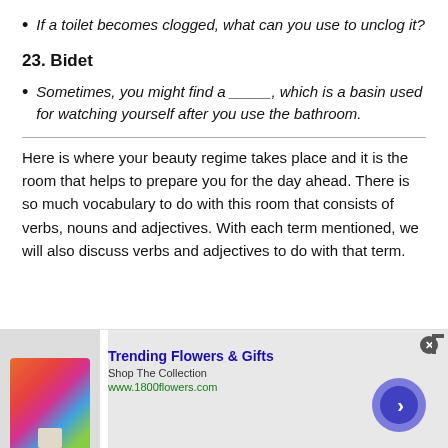If a toilet becomes clogged, what can you use to unclog it?
23. Bidet
Sometimes, you might find a _____, which is a basin used for watching yourself after you use the bathroom.
Here is where your beauty regime takes place and it is the room that helps to prepare you for the day ahead. There is so much vocabulary to do with this room that consists of verbs, nouns and adjectives. With each term mentioned, we will also discuss verbs and adjectives to do with that term.
[Figure (other): Advertisement banner for Trending Flowers & Gifts from 1800flowers.com with flower bouquet image and navigation arrow button]